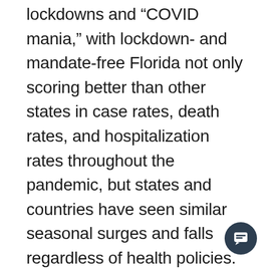lockdowns and “COVID mania,” with lockdown- and mandate-free Florida not only scoring better than other states in case rates, death rates, and hospitalization rates throughout the pandemic, but states and countries have seen similar seasonal surges and falls regardless of health policies.
Conservatives feel vindicated in Governor Ron DeSantis’ (R) pick of Ladapo for the position of Florida Surgeon General given he has been correct while the mainstream media and Democrats have been proven incorrect on the necessity of mask